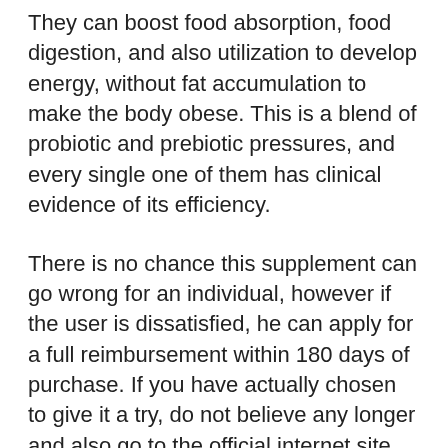They can boost food absorption, food digestion, and also utilization to develop energy, without fat accumulation to make the body obese. This is a blend of probiotic and prebiotic pressures, and every single one of them has clinical evidence of its efficiency.
There is no chance this supplement can go wrong for an individual, however if the user is dissatisfied, he can apply for a full reimbursement within 180 days of purchase. If you have actually chosen to give it a try, do not believe any longer and also go to the official internet site today to confirm the orders. The stock is marketing fast, and also it may end soon. Acquire LeanBiome while it is still offered utilizing this direct web link to the main website.